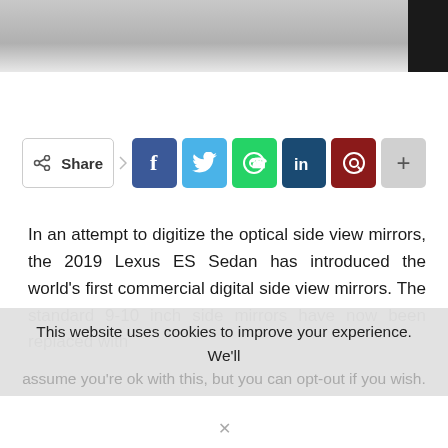[Figure (photo): Partial photo of a car, likely showing side mirror area, grey/metallic surface with dark edge on right]
[Figure (infographic): Social share bar with Share button, Facebook (dark blue), Twitter (light blue), WhatsApp (green), LinkedIn (dark teal), Pinterest (dark red), and more (+) buttons]
In an attempt to digitize the optical side view mirrors, the 2019 Lexus ES Sedan has introduced the world's first commercial digital side view mirrors. The standard 9-10 inch side mirrors have now been replaced with
This website uses cookies to improve your experience. We'll
assume you're ok with this, but you can opt-out if you wish.